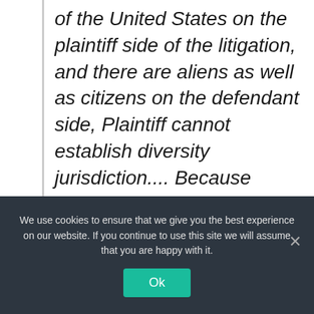of the United States on the plaintiff side of the litigation, and there are aliens as well as citizens on the defendant side, Plaintiff cannot establish diversity jurisdiction.... Because diversity of citizenship is not complete, the Court does not have diversity jurisdiction of this matter....
We use cookies to ensure that we give you the best experience on our website. If you continue to use this site we will assume that you are happy with it.